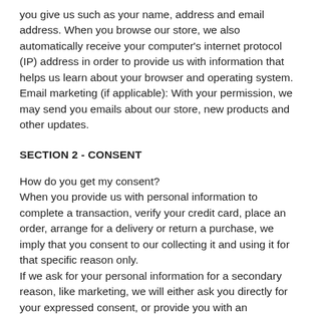you give us such as your name, address and email address. When you browse our store, we also automatically receive your computer's internet protocol (IP) address in order to provide us with information that helps us learn about your browser and operating system.
Email marketing (if applicable): With your permission, we may send you emails about our store, new products and other updates.
SECTION 2 - CONSENT
How do you get my consent?
When you provide us with personal information to complete a transaction, verify your credit card, place an order, arrange for a delivery or return a purchase, we imply that you consent to our collecting it and using it for that specific reason only.
If we ask for your personal information for a secondary reason, like marketing, we will either ask you directly for your expressed consent, or provide you with an opportunity to say no.
How do I withdraw my consent?
If after you opt-in, you change your mind, you may withdraw...